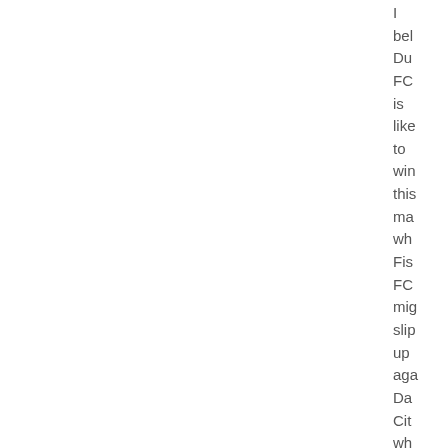I bel Du FC is like to win this ma wh Fis FC mig slip up aga Da Cit wh dre wit Du FC on